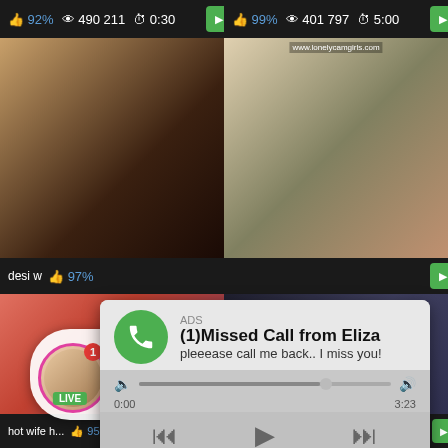[Figure (screenshot): Video thumbnail grid showing adult content website with thumbnails, stats bars showing likes/views/duration, and two overlay advertisements - a missed call notification and a live chat notification]
ADS
(1)Missed Call from Eliza
pleeease call me back.. I miss you!
0:00  3:23
ADS
Jeniffer 2000
(00:12)
92%  490 211  0:30
99%  401 797  5:00
desi w  97%
hot wife h...  95%  686 160
91%  759 078  3:00